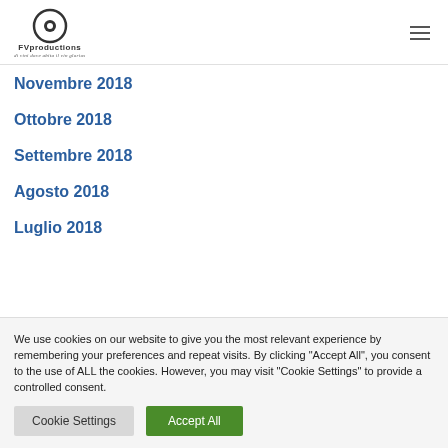FVproductions
Novembre 2018
Ottobre 2018
Settembre 2018
Agosto 2018
Luglio 2018
We use cookies on our website to give you the most relevant experience by remembering your preferences and repeat visits. By clicking "Accept All", you consent to the use of ALL the cookies. However, you may visit "Cookie Settings" to provide a controlled consent.